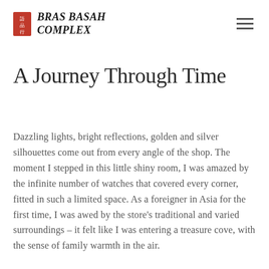BRAS BASAH COMPLEX
A Journey Through Time
Dazzling lights, bright reflections, golden and silver silhouettes come out from every angle of the shop. The moment I stepped in this little shiny room, I was amazed by the infinite number of watches that covered every corner, fitted in such a limited space. As a foreigner in Asia for the first time, I was awed by the store's traditional and varied surroundings – it felt like I was entering a treasure cove, with the sense of family warmth in the air.